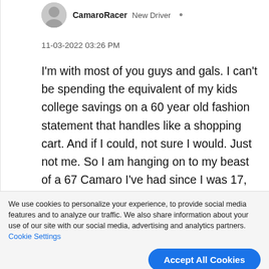CamaroRacer · New Driver
11-03-2022 03:26 PM
I'm with most of you guys and gals. I can't be spending the equivalent of my kids college savings on a 60 year old fashion statement that handles like a shopping cart. And if I could, not sure I would. Just not me. So I am hanging on to my beast of a 67 Camaro I've had since I was 17, and
We use cookies to personalize your experience, to provide social media features and to analyze our traffic. We also share information about your use of our site with our social media, advertising and analytics partners. Cookie Settings
Accept All Cookies